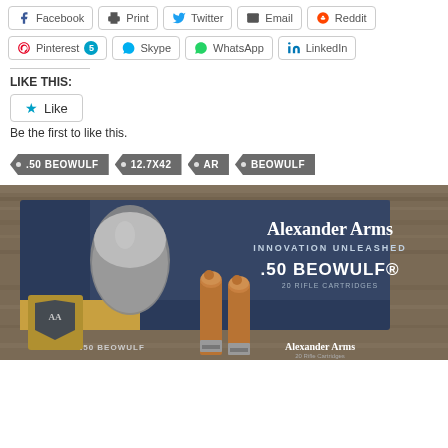Facebook | Print | Twitter | Email | Reddit
Pinterest 5 | Skype | WhatsApp | LinkedIn
LIKE THIS:
Like
Be the first to like this.
.50 BEOWULF • 12.7X42 • AR • BEOWULF
[Figure (photo): Alexander Arms .50 Beowulf ammunition box with two copper-tipped rifle cartridges in front, on a wooden surface. Box reads 'Alexander Arms INNOVATION UNLEASHED .50 BEOWULF 20 RIFLE CARTRIDGES'.]